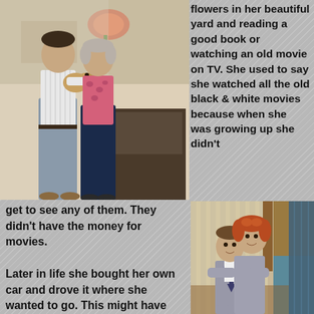[Figure (photo): An older woman and a young man holding a small dog, standing inside a home with flowers and decorations in the background.]
flowers in her beautiful yard and reading a good book or watching an old movie on TV. She used to say she watched all the old black & white movies because when she was growing up she didn't
get to see any of them. They didn't have the money for movies.

Later in life she bought her own car and drove it where she wanted to go. This might have been
[Figure (photo): Two young children dressed in formal grey suits hugging each other, standing in a room with wooden furniture and blue curtains.]